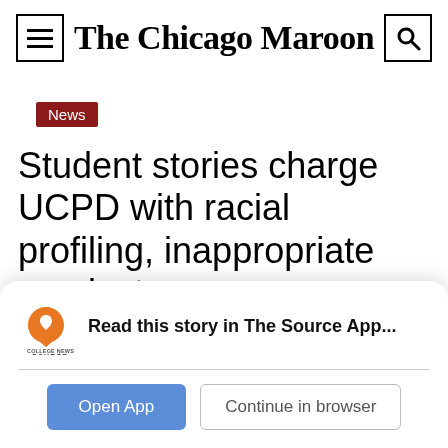The Chicago Maroon
News
Student stories charge UCPD with racial profiling, inappropriate conduct
Read this story in The Source App...
Open App
Continue in browser